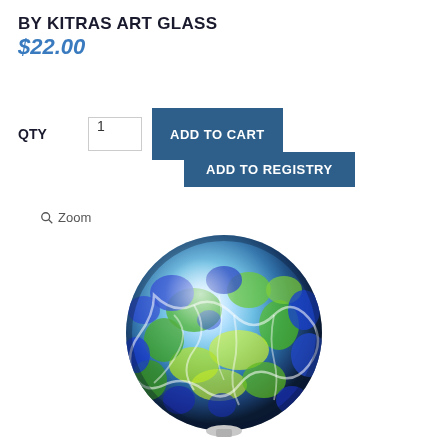BY KITRAS ART GLASS
$22.00
QTY  1  ADD TO CART
ADD TO REGISTRY
🔍 Zoom
[Figure (photo): A decorative art glass sphere with blue, green, and white mottled pattern, sitting on a small base. The ball has a mosaic-like surface with deep blue and vivid green patches separated by white veining, giving it a luminous appearance.]